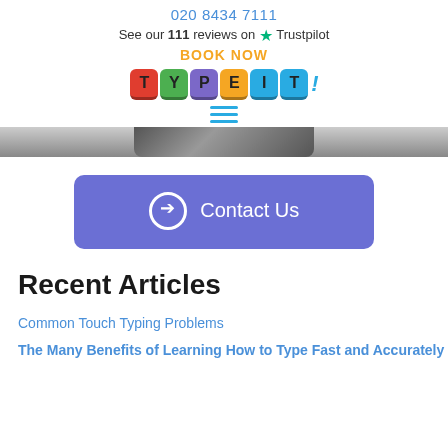020 8434 7111
See our 111 reviews on ★ Trustpilot
BOOK NOW
[Figure (logo): TypeIt! logo made of colorful letter tiles spelling T Y P E I T with an exclamation mark]
[Figure (other): Hamburger menu icon with three horizontal blue lines]
[Figure (photo): Partial black and white photo strip at the top of a person's face]
[Figure (other): Contact Us button with arrow circle icon, purple/indigo background]
Recent Articles
Common Touch Typing Problems
The Many Benefits of Learning How to Type Fast and Accurately